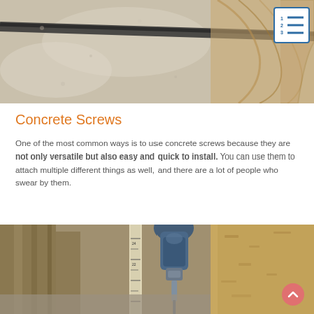[Figure (photo): Close-up of concrete and wood surface with dark stripe/groove, with a numbered list icon in the top-right corner]
Concrete Screws
One of the most common ways is to use concrete screws because they are not only versatile but also easy and quick to install. You can use them to attach multiple different things as well, and there are a lot of people who swear by them.
[Figure (photo): Photo of a drill/screw driver being used in a wooden frame construction against concrete floor, with a scroll-to-top button overlay]